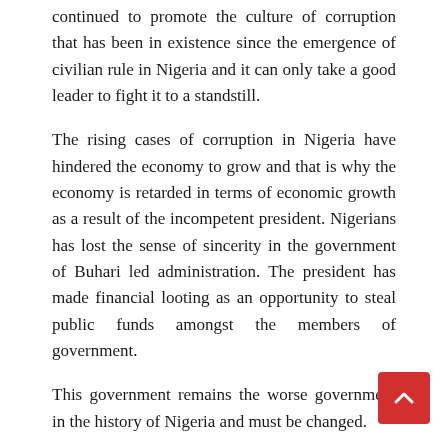continued to promote the culture of corruption that has been in existence since the emergence of civilian rule in Nigeria and it can only take a good leader to fight it to a standstill.
The rising cases of corruption in Nigeria have hindered the economy to grow and that is why the economy is retarded in terms of economic growth as a result of the incompetent president. Nigerians has lost the sense of sincerity in the government of Buhari led administration. The president has made financial looting as an opportunity to steal public funds amongst the members of government.
This government remains the worse government in the history of Nigeria and must be changed.
May God heal our land.
Written by:
Chiedozie Irobi